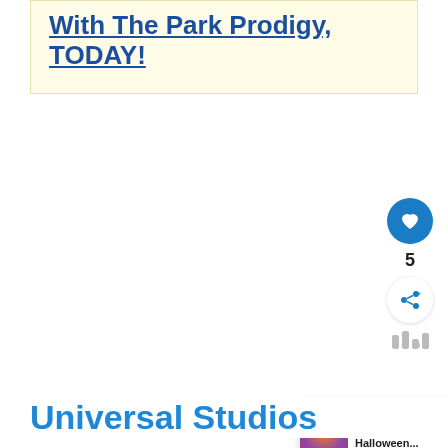With The Park Prodigy TODAY!
Universal Studios
[Figure (infographic): Social media sidebar widget with heart/like button showing count 5, share button, audio bars icon, and a 'What's Next' panel showing '2022 Halloween...' with a thumbnail image]